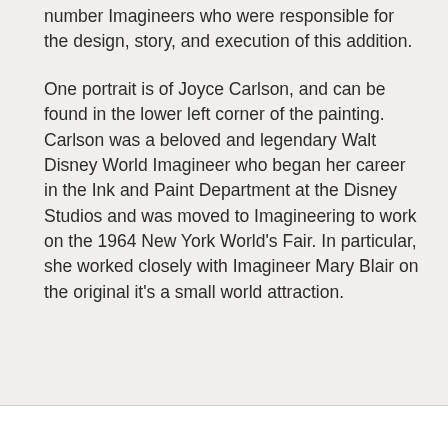number Imagineers who were responsible for the design, story, and execution of this addition.
One portrait is of Joyce Carlson, and can be found in the lower left corner of the painting. Carlson was a beloved and legendary Walt Disney World Imagineer who began her career in the Ink and Paint Department at the Disney Studios and was moved to Imagineering to work on the 1964 New York World's Fair. In particular, she worked closely with Imagineer Mary Blair on the original it's a small world attraction.